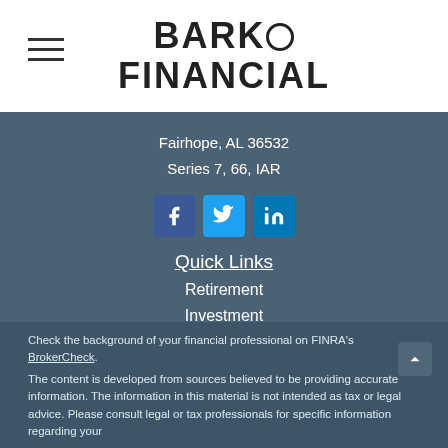BARKO FINANCIAL
Fairhope, AL 36532
Series 7, 66, IAR
[Figure (illustration): Social media icons: Facebook, Twitter, LinkedIn]
Quick Links
Retirement
Investment
Money
Lifestyle
All Articles
All Videos
All Calculators
All Presentations
Check the background of your financial professional on FINRA's BrokerCheck.
The content is developed from sources believed to be providing accurate information. The information in this material is not intended as tax or legal advice. Please consult legal or tax professionals for specific information regarding your